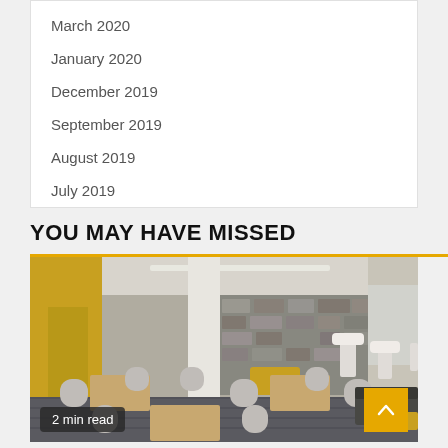March 2020
January 2020
December 2019
September 2019
August 2019
July 2019
YOU MAY HAVE MISSED
[Figure (photo): Interior photo of a modern lounge/cafeteria space with grey chairs, wooden tables, yellow accent walls, stone feature wall, and lamps. A yellow scroll-to-top button is visible in the bottom right. A '2 min read' badge is in the bottom left.]